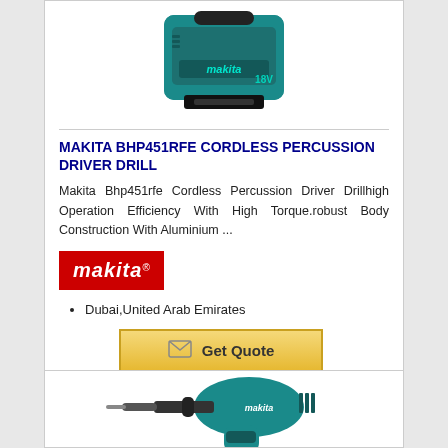[Figure (photo): Makita 18V battery pack product image]
MAKITA BHP451RFE CORDLESS PERCUSSION DRIVER DRILL
Makita Bhp451rfe Cordless Percussion Driver Drillhigh Operation Efficiency With High Torque.robust Body Construction With Aluminium ...
[Figure (logo): Makita brand logo — red background with white italic text]
Dubai,United Arab Emirates
[Figure (other): Get Quote button with envelope icon]
[Figure (photo): Makita cordless percussion driver drill product image]